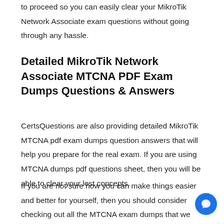to proceed so you can easily clear your MikroTik Network Associate exam questions without going through any hassle.
Detailed MikroTik Network Associate MTCNA PDF Exam Dumps Questions & Answers
CertsQuestions are also providing detailed MikroTik MTCNA pdf exam dumps question answers that will help you prepare for the real exam. If you are using MTCNA dumps pdf questions sheet, then you will be able to clear your lost concepts.
If you are not sure how you can make things easier and better for yourself, then you should consider checking out all the MTCNA exam dumps that we are providing. It is highly recommended to go through detailed MTCNA exam